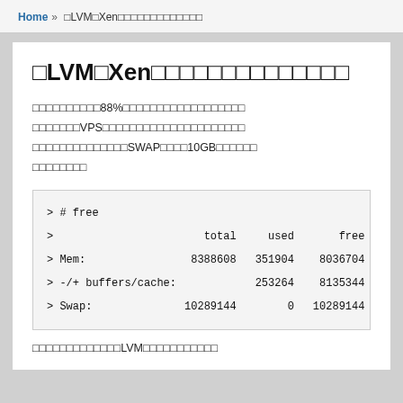Home » □LVM□Xen□□□□□□□□□□□□□
□LVM□Xen□□□□□□□□□□□□□□
□□□□□□□□□□88%□□□□□□□□□□□□□□□□□□□□□□□□□□□VPS□□□□□□□□□□□□□□□□□□□□□□□□□□□□□□□□□□□□SWAP□□□□10GB□□□□□□□□□□□□□□□
| > | total | used | free |
| --- | --- | --- | --- |
| > # free |  |  |  |
| > | total | used | free |
| > Mem: | 8388608 | 351904 | 8036704 |
| > -/+ buffers/cache: | 253264 | 8135344 |  |
| > Swap: | 10289144 | 0 | 10289144 |
□□□□□□□□□□□□□LVM□□□□□□□□□□□